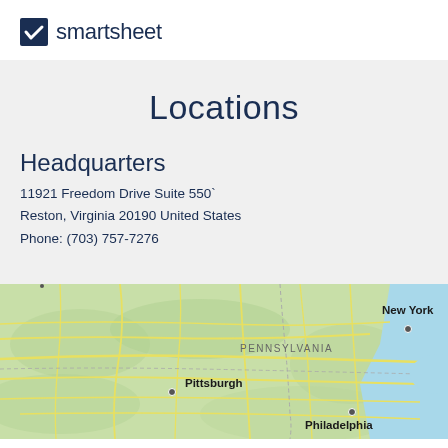[Figure (logo): Smartsheet logo: dark blue checkbox icon followed by the text 'smartsheet' in dark blue]
Locations
Headquarters
11921 Freedom Drive Suite 550
Reston, Virginia 20190 United States
Phone: (703) 757-7276
[Figure (map): Map showing northeastern United States with labels for Pennsylvania, Pittsburgh, Philadelphia, and New York]